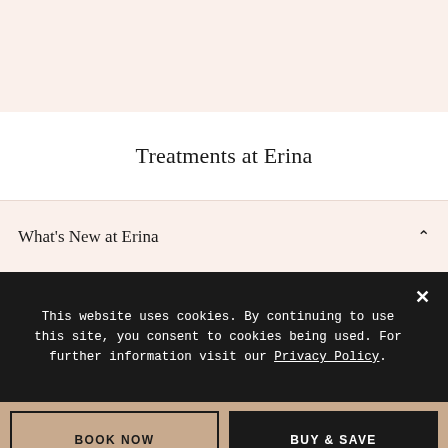[Figure (other): Top pink/cream background section]
Treatments at Erina
What's New at Erina
This website uses cookies. By continuing to use this site, you consent to cookies being used. For further information visit our Privacy Policy.
BOOK NOW
BUY & SAVE